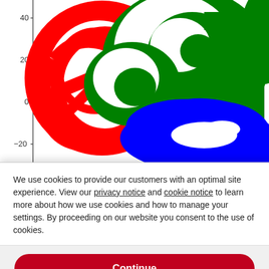[Figure (continuous-plot): A scientific scatter/continuous plot showing overlapping spiral or circular patterns in three colors: red (left), green (top-right), and blue (bottom-right). Y-axis visible with labels 40, 20, 0, -20. The plot is partially obscured by a cookie consent overlay.]
We use cookies to provide our customers with an optimal site experience. View our privacy notice and cookie notice to learn more about how we use cookies and how to manage your settings. By proceeding on our website you consent to the use of cookies.
Continue
Exit
Privacy Notice
successfully corrected for head iron distortions. If we take a new...